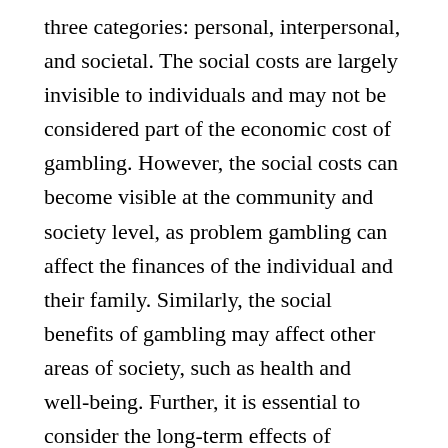three categories: personal, interpersonal, and societal. The social costs are largely invisible to individuals and may not be considered part of the economic cost of gambling. However, the social costs can become visible at the community and society level, as problem gambling can affect the finances of the individual and their family. Similarly, the social benefits of gambling may affect other areas of society, such as health and well-being. Further, it is essential to consider the long-term effects of gambling on the community and society.
The economic impact of gambling has been studied by many researchers, including Cartee C, Gordon G, and Koo J. The economic impacts